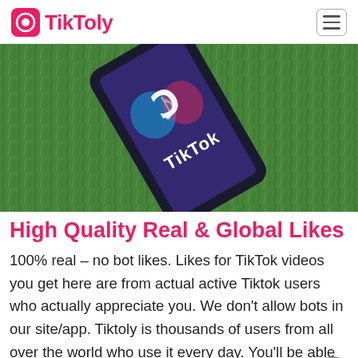TikToly
[Figure (photo): A smartphone with the TikTok logo lying on green grass, shot from above at an angle.]
High Quality Real & Global Likes
100% real – no bot likes. Likes for TikTok videos you get here are from actual active Tiktok users who actually appreciate you. We don't allow bots in our site/app. Tiktoly is thousands of users from all over the world who use it every day. You'll be able to get